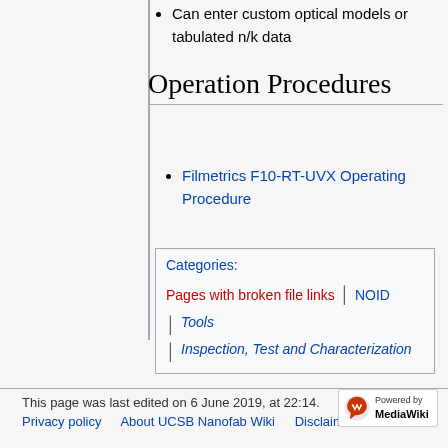Can enter custom optical models or tabulated n/k data
Operation Procedures
Filmetrics F10-RT-UVX Operating Procedure
Categories: Pages with broken file links | NOID | Tools | Inspection, Test and Characterization
This page was last edited on 6 June 2019, at 22:14.
Privacy policy  About UCSB Nanofab Wiki  Disclaimers